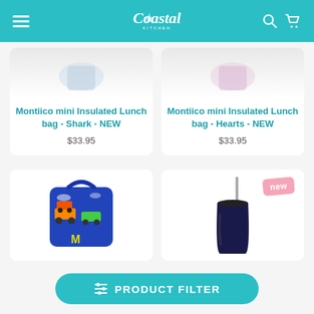Coastal Kitchen (logo) - navigation header with hamburger menu, search and cart icons
[Figure (photo): Product listing card (top partial): Montiico mini Insulated Lunch bag - Shark - NEW, $33.95]
Montiico mini Insulated Lunch bag - Shark - NEW
$33.95
[Figure (photo): Product listing card (top partial): Montiico mini Insulated Lunch bag - Hearts - NEW, $33.95]
Montiico mini Insulated Lunch bag - Hearts - NEW
$33.95
[Figure (photo): Blue monster truck lunch bag product image]
[Figure (photo): Navy tumbler/cup with straw product image, with 'new' badge]
PRODUCT FILTER